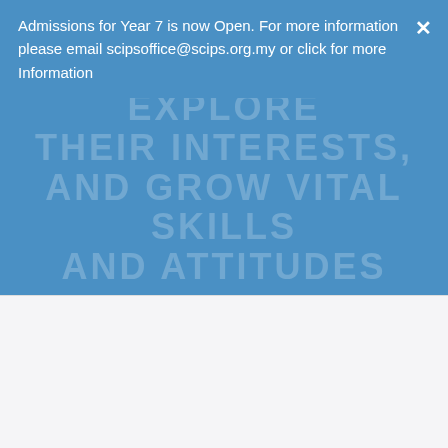[Figure (illustration): Blue banner background with large faded white uppercase text reading: AUTONOMY AND INDEPENDENCE, EXPLORE THEIR INTERESTS, AND GROW VITAL SKILLS AND ATTITUDES]
Admissions for Year 7 is now Open. For more information please email scipsoffice@scips.org.my or click for more Information
AND ATTITUDES REQUIRED FOR FUTURE SUCCESS.